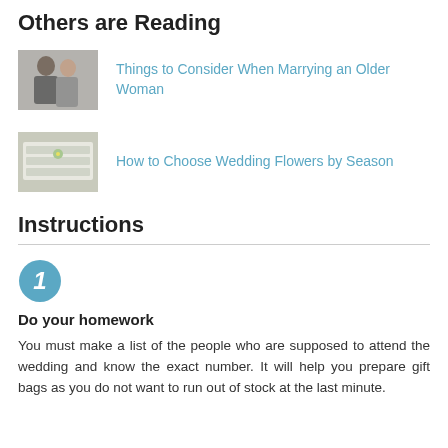Others are Reading
[Figure (photo): Thumbnail photo of a couple, man and woman]
Things to Consider When Marrying an Older Woman
[Figure (photo): Thumbnail photo of wedding table setting with flowers]
How to Choose Wedding Flowers by Season
Instructions
[Figure (infographic): Blue circle with number 1]
Do your homework
You must make a list of the people who are supposed to attend the wedding and know the exact number. It will help you prepare gift bags as you do not want to run out of stock at the last minute.